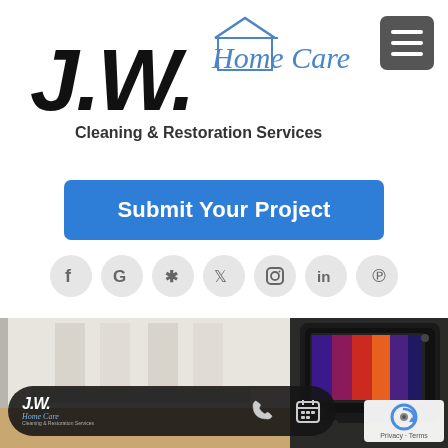[Figure (logo): J.W. Home Care Cleaning & Restoration Services logo with house icon]
Submit Your Project
[Figure (infographic): Row of social media icons: Facebook, Google, Yelp, Twitter, Instagram, LinkedIn, Pinterest]
(805) 307-7887
[Figure (photo): Bottom section showing a room interior with thermal imaging camera on the right and a dark navigation bar with J.W. Home Care logo, phone and calendar icons]